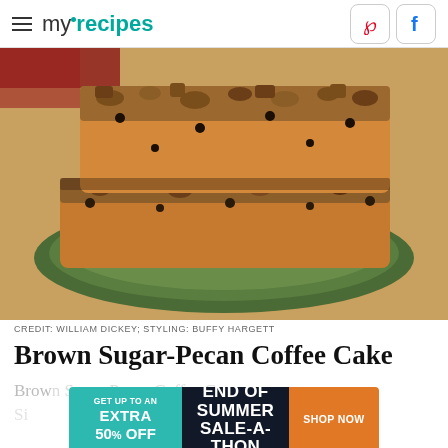myrecipes
[Figure (photo): Two stacked pieces of brown sugar-pecan coffee cake on a green ceramic plate, showing crumbly pecan streusel topping with chocolate chips]
CREDIT: WILLIAM DICKEY; STYLING: BUFFY HARGETT
Brown Sugar-Pecan Coffee Cake
Brown Sugar-Pecan Coffee Cake recipe teaser text (partially obscured by advertisement)
[Figure (infographic): Advertisement banner: GET UP TO AN EXTRA 50% OFF | END OF SUMMER SALE-A-THON | SHOP NOW]